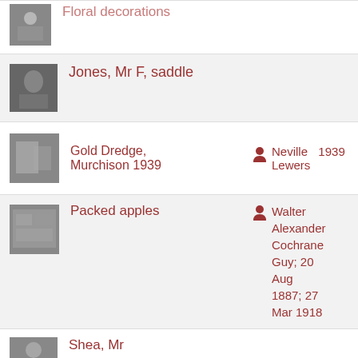Floral decorations
Jones, Mr F, saddle
Gold Dredge, Murchison 1939 — Neville Lewers, 1939
Packed apples — Walter Alexander Cochrane Guy; 20 Aug 1887; 27 Mar 1918
Shea, Mr